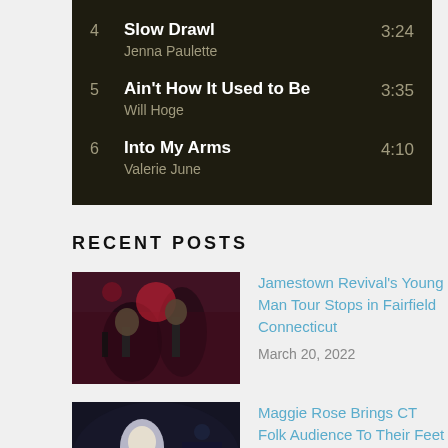| # | Title / Artist | Duration |
| --- | --- | --- |
| 4 | Slow Drawl
Jenna Paulette | 3:24 |
| 5 | Ain't How It Used to Be
Will Hoge | 3:35 |
| 6 | Into My Arms
Valerie June | 4:10 |
RECENT POSTS
[Figure (photo): Concert photo showing performers on stage with red lighting - Jamestown Revival]
Jamestown Revival's Young Man Tour Stops in Fairfield Connecticut
March 20, 2022
[Figure (photo): Photo of female singer Maggie Rose performing with microphone, wearing blue top]
Maggie Rose Brings CT Folk Audience To Their Feet On The Have A Seat Tour
July 30, 2021